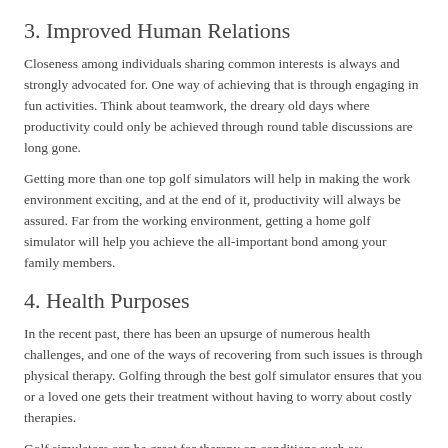3. Improved Human Relations
Closeness among individuals sharing common interests is always and strongly advocated for. One way of achieving that is through engaging in fun activities. Think about teamwork, the dreary old days where productivity could only be achieved through round table discussions are long gone.
Getting more than one top golf simulators will help in making the work environment exciting, and at the end of it, productivity will always be assured. Far from the working environment, getting a home golf simulator will help you achieve the all-important bond among your family members.
4. Health Purposes
In the recent past, there has been an upsurge of numerous health challenges, and one of the ways of recovering from such issues is through physical therapy. Golfing through the best golf simulator ensures that you or a loved one gets their treatment without having to worry about costly therapies.
Golf simulators can be great for therapy on conditions such as: